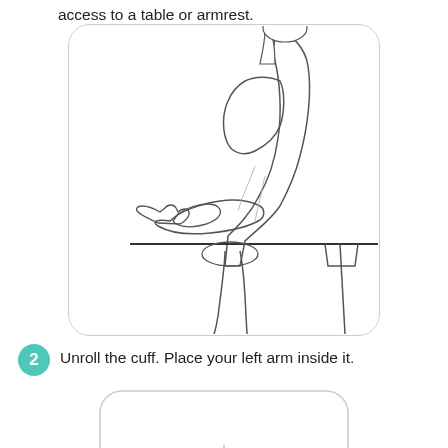access to a table or armrest.
[Figure (illustration): Line drawing showing a person seated sideways, resting their left forearm on a table or flat surface, with hands clasped, wearing a short-sleeve shirt.]
2  Unroll the cuff. Place your left arm inside it.
[Figure (illustration): Partial illustration showing the top of a rounded rectangle frame, beginning of a second instructional image for placing the arm inside the cuff.]